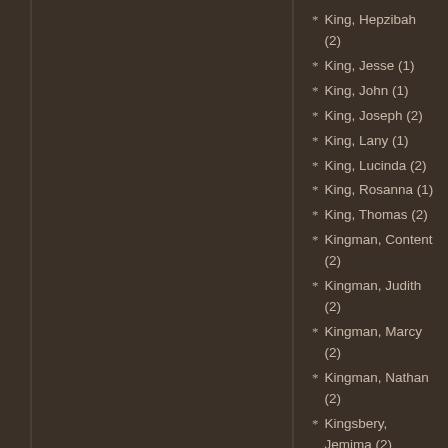King, Hepzibah (2)
King, Jesse (1)
King, John (1)
King, Joseph (2)
King, Lany (1)
King, Lucinda (2)
King, Rosanna (1)
King, Thomas (2)
Kingman, Content (2)
Kingman, Judith (2)
Kingman, Marcy (2)
Kingman, Nathan (2)
Kingsbery, Jemima (2)
Kingsbery, Lucy (2)
Kingsbery, Samuel (2)
Kingsbery, Sarah (2)
Kingsbery, Timothy (2)